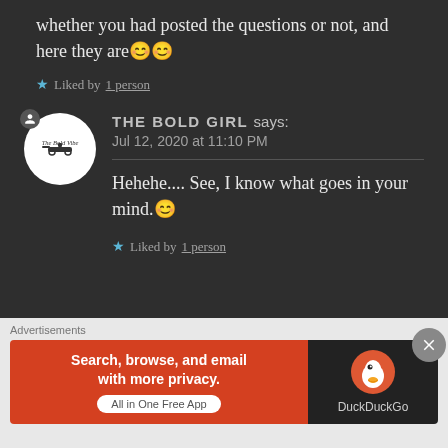whether you had posted the questions or not, and here they are😊😊
★ Liked by 1 person
THE BOLD GIRL says: Jul 12, 2020 at 11:10 PM
Hehehe.... See, I know what goes in your mind.😊
★ Liked by 1 person
Advertisements
[Figure (screenshot): DuckDuckGo advertisement banner: Search, browse, and email with more privacy. All in One Free App]